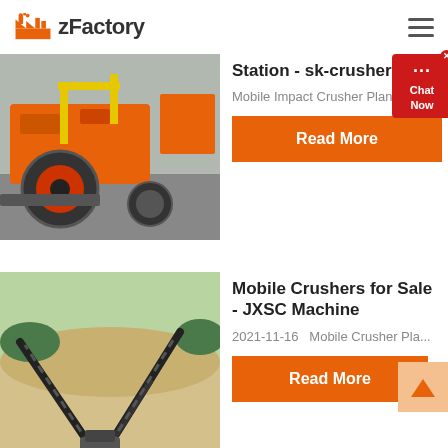zFactory
Station - sk-crusher
Mobile Impact Crusher Plant
[Figure (photo): Orange mobile impact crusher plant machinery at a construction site]
Read More
Mobile Crushers for Sale - JXSC Machine
2021-11-16   Mobile Crusher Pla...
[Figure (photo): Conveyor belt machinery at a sand quarry or mining site]
Read More